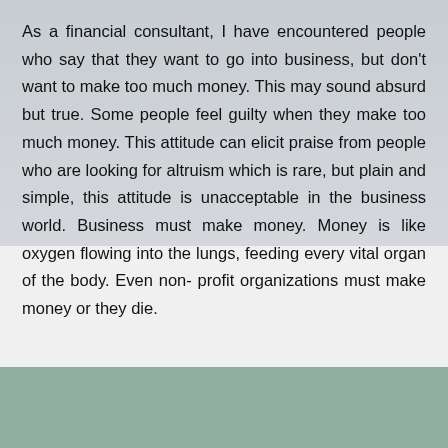As a financial consultant, I have encountered people who say that they want to go into business, but don't want to make too much money. This may sound absurd but true. Some people feel guilty when they make too much money. This attitude can elicit praise from people who are looking for altruism which is rare, but plain and simple, this attitude is unacceptable in the business world. Business must make money. Money is like oxygen flowing into the lungs, feeding every vital organ of the body. Even non- profit organizations must make money or they die.